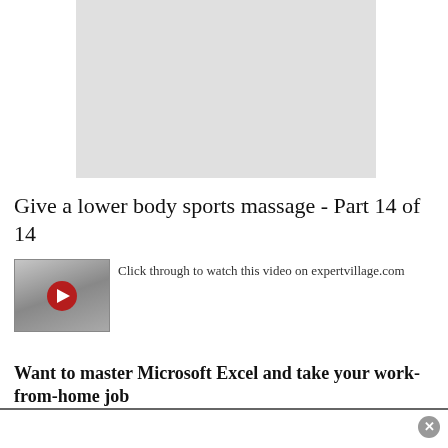[Figure (screenshot): Gray placeholder rectangle representing an embedded video area]
Give a lower body sports massage - Part 14 of 14
[Figure (screenshot): Video thumbnail showing a person performing a sports massage, with a red play button overlay]
Click through to watch this video on expertvillage.com
Want to master Microsoft Excel and take your work-from-home job